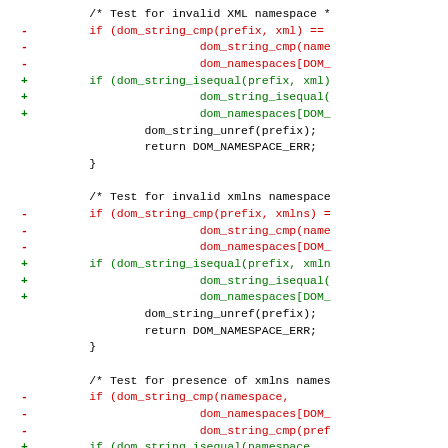Code diff showing changes from dom_string_cmp to dom_string_isequal functions for XML namespace validation checks
[Figure (other): Source code diff with red (removed) and green (added) lines showing replacement of dom_string_cmp with dom_string_isequal across three namespace test blocks]